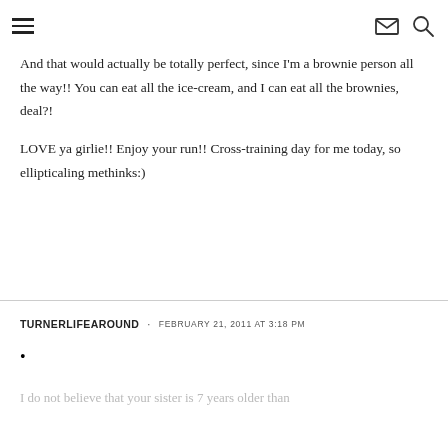Navigation header with hamburger menu, email icon, and search icon
And that would actually be totally perfect, since I'm a brownie person all the way!! You can eat all the ice-cream, and I can eat all the brownies, deal?!
LOVE ya girlie!! Enjoy your run!! Cross-training day for me today, so ellipticaling methinks:)
TURNERLIFEAROUND · FEBRUARY 21, 2011 AT 3:18 PM
REPLY
I do not believe that your sister is 7 years older than